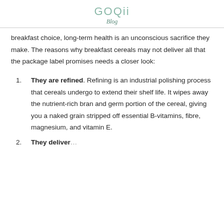GOQii Blog
breakfast choice, long-term health is an unconscious sacrifice they make. The reasons why breakfast cereals may not deliver all that the package label promises needs a closer look:
They are refined. Refining is an industrial polishing process that cereals undergo to extend their shelf life. It wipes away the nutrient-rich bran and germ portion of the cereal, giving you a naked grain stripped off essential B-vitamins, fibre, magnesium, and vitamin E.
They deliver...